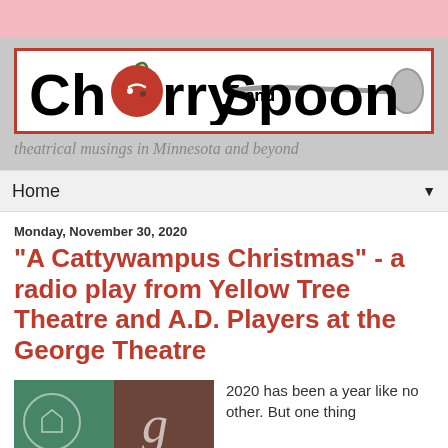[Figure (logo): Cherry and Spoon blog logo with red cherry and spoon graphic, black bold text on white background with red border]
theatrical musings in Minnesota and beyond
Home
Monday, November 30, 2020
"A Cattywampus Christmas" - a radio play from Yellow Tree Theatre and A.D. Players at the George Theatre
[Figure (photo): Collage image showing Yellow Tree Theatre and George Theatre logos on dark green/red background with a 'g' letter visible]
2020 has been a year like no other. But one thing